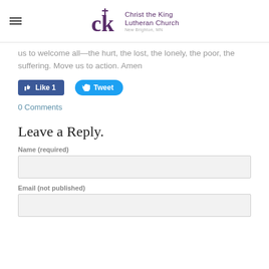Christ the King Lutheran Church New Brighton, MN
us to welcome all—the hurt, the lost, the lonely, the poor, the suffering. Move us to action. Amen
[Figure (screenshot): Facebook Like button (Like 1) and Twitter Tweet button]
0 Comments
Leave a Reply.
Name (required)
Email (not published)